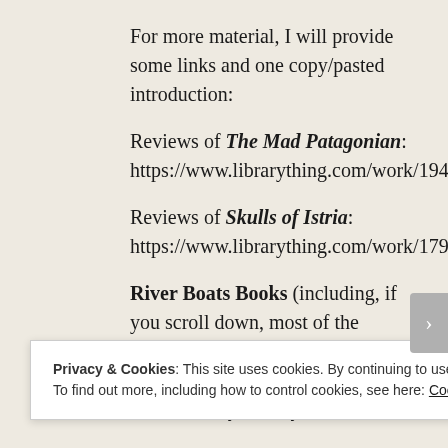For more material, I will provide some links and one copy/pasted introduction:
Reviews of The Mad Patagonian: https://www.librarything.com/work/19405243
Reviews of Skulls of Istria: https://www.librarything.com/work/17985579
River Boats Books (including, if you scroll down, most of the introduction to The Flamethrowers that may further elucidate that extraordinary literary
Privacy & Cookies: This site uses cookies. By continuing to use this website, you agree to their use.
To find out more, including how to control cookies, see here: Cookie Policy